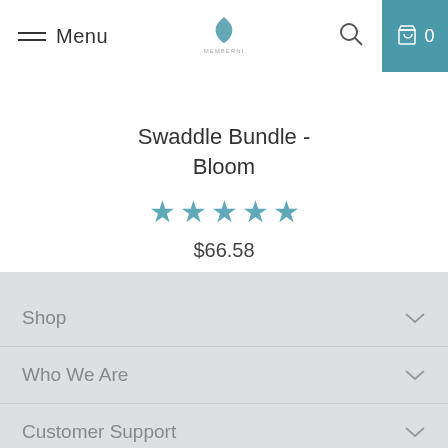Menu | Logo | Search | Cart 0
Swaddle Bundle - Bloom
★★★★★
$66.58
Shop
Who We Are
Customer Support
Press